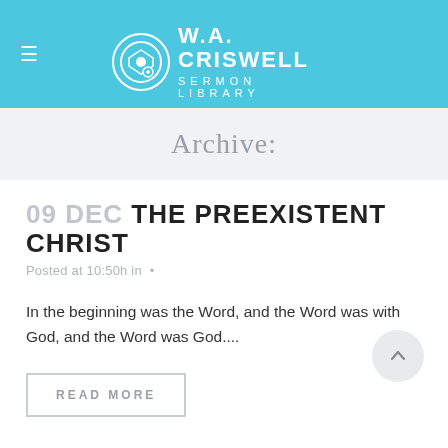W.A. CRISWELL SERMON LIBRARY
Archive:
09 DEC THE PREEXISTENT CHRIST
Posted at 10:50h in •
In the beginning was the Word, and the Word was with God, and the Word was God....
READ MORE